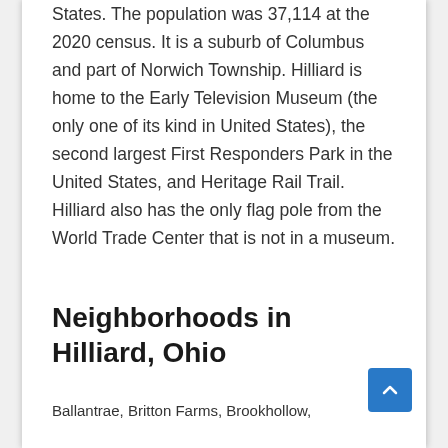States. The population was 37,114 at the 2020 census. It is a suburb of Columbus and part of Norwich Township. Hilliard is home to the Early Television Museum (the only one of its kind in United States), the second largest First Responders Park in the United States, and Heritage Rail Trail. Hilliard also has the only flag pole from the World Trade Center that is not in a museum.
Neighborhoods in Hilliard, Ohio
Ballantrae, Britton Farms, Brookhollow,